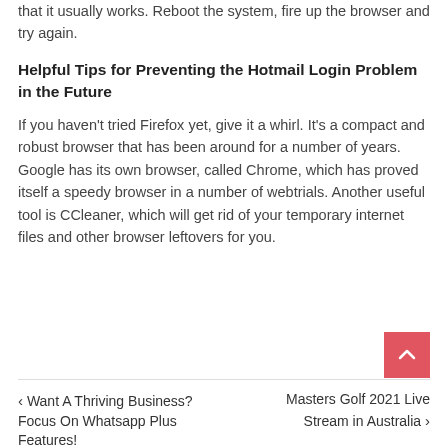that it usually works. Reboot the system, fire up the browser and try again.
Helpful Tips for Preventing the Hotmail Login Problem in the Future
If you haven't tried Firefox yet, give it a whirl. It's a compact and robust browser that has been around for a number of years. Google has its own browser, called Chrome, which has proved itself a speedy browser in a number of webtrials. Another useful tool is CCleaner, which will get rid of your temporary internet files and other browser leftovers for you.
← Want A Thriving Business? Focus On Whatsapp Plus Features! | Masters Golf 2021 Live Stream in Australia →